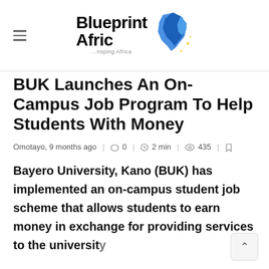[Figure (logo): Blueprint Afric logo with blue Africa continent shape and bold text 'Blueprint Afric' with tagline '...nsping Afric']
BUK Launches An On-Campus Job Program To Help Students With Money
Omotayo, 9 months ago  0  2 min  435
Bayero University, Kano (BUK) has implemented an on-campus student job scheme that allows students to earn money in exchange for providing services to the university